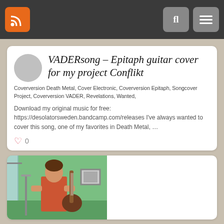Navigation bar with RSS, search, and menu buttons
VADERsong – Epitaph guitar cover for my project Conflikt
Coverversion Death Metal, Cover Electronic, Coverversion Epitaph, Songcover Project, Coverversion VADER, Revelations, Wanted,
Download my original music for free: https://desolatorsweden.bandcamp.com/releases I've always wanted to cover this song, one of my favorites in Death Metal, …
♡ 0
[Figure (photo): Photo of a person playing guitar in a green room with a picture frame on the wall and curtains]